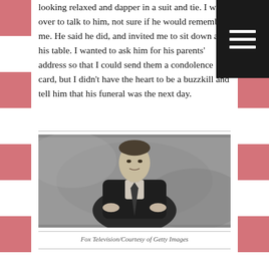looking relaxed and dapper in a suit and tie. I went over to talk to him, not sure if he would remember me. He said he did, and invited me to sit down at his table. I wanted to ask him for his parents' address so that I could send them a condolence card, but I didn't have the heart to be a buzzkill and tell him that his funeral was the next day.
[Figure (photo): Black and white portrait photograph of a man in a dark suit and tie, leaning forward with hands clasped, looking at camera against a mottled grey background.]
Fox Television/Courtesy of Getty Images